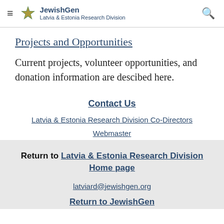JewishGen Latvia & Estonia Research Division
Projects and Opportunities
Current projects, volunteer opportunities, and donation information are descibed here.
Contact Us
Latvia & Estonia Research Division Co-Directors
Webmaster
Return to Latvia & Estonia Research Division Home page
latviard@jewishgen.org
Return to JewishGen